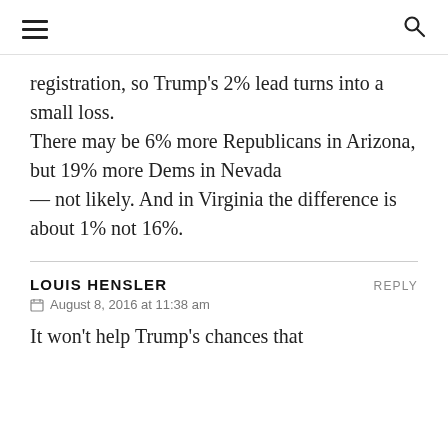☰  🔍
registration, so Trump's 2% lead turns into a small loss. There may be 6% more Republicans in Arizona, but 19% more Dems in Nevada — not likely. And in Virginia the difference is about 1% not 16%.
LOUIS HENSLER   REPLY
August 8, 2016 at 11:38 am
It won't help Trump's chances that